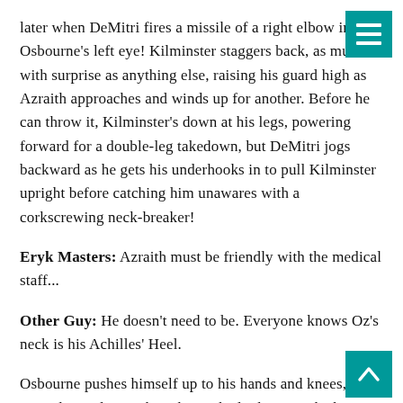later when DeMitri fires a missile of a right elbow into Osbourne's left eye! Kilminster staggers back, as much with surprise as anything else, raising his guard high as Azraith approaches and winds up for another. Before he can throw it, Kilminster's down at his legs, powering forward for a double-leg takedown, but DeMitri jogs backward as he gets his underhooks in to pull Kilminster upright before catching him unawares with a corkscrewing neck-breaker!
Eryk Masters: Azraith must be friendly with the medical staff...
Other Guy: He doesn't need to be. Everyone knows Oz's neck is his Achilles' Heel.
Osbourne pushes himself up to his hands and knees, as Azraith stands over him, but as he looks up at the bigger man, we can see his body isn't heaving because